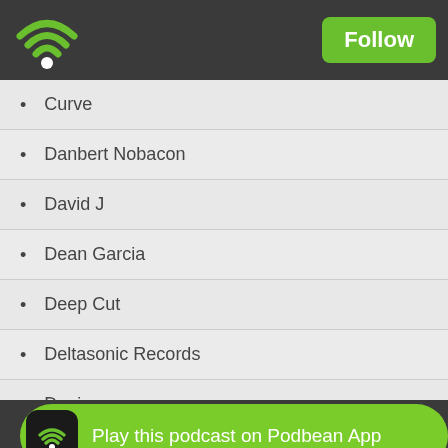Follow
Curve
Danbert Nobacon
David J
Dean Garcia
Deep Cut
Deltasonic Records
Denim
Dom Thomas
Dot Dash
Dragon
Play this podcast on Podbean App